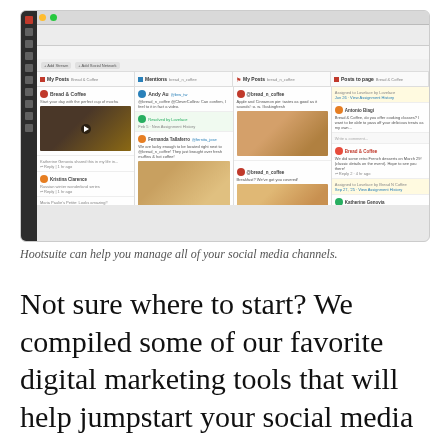[Figure (screenshot): Screenshot of Hootsuite social media management dashboard showing four columns: My Posts (Bread & Coffee), Mentions (bread_n_coffee), My Posts (bread_n_coffee), and Posts to page (Bread & Coffee). The interface shows a Mac browser window with a dark left sidebar and multiple social media post streams with food images.]
Hootsuite can help you manage all of your social media channels.
Not sure where to start? We compiled some of our favorite digital marketing tools that will help jumpstart your social media game.